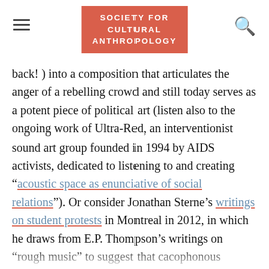SOCIETY FOR CULTURAL ANTHROPOLOGY
back! ) into a composition that articulates the anger of a rebelling crowd and still today serves as a potent piece of political art (listen also to the ongoing work of Ultra-Red, an interventionist sound art group founded in 1994 by AIDS activists, dedicated to listening to and creating “acoustic space as enunciative of social relations”). Or consider Jonathan Sterne’s writings on student protests in Montreal in 2012, in which he draws from E.P. Thompson’s writings on “rough music” to suggest that cacophonous crowds can articulate community resistance to oppression. Sterne writes: